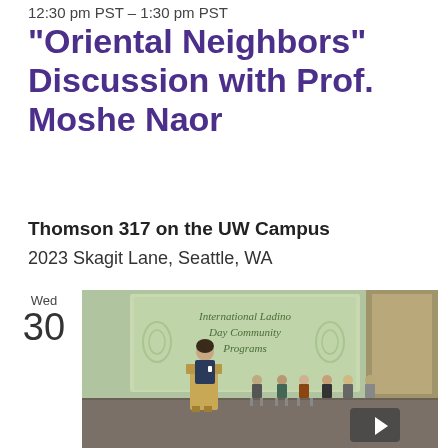12:30 pm PST – 1:30 pm PST
“Oriental Neighbors” Discussion with Prof. Moshe Naor
Thomson 317 on the UW Campus
2023 Skagit Lane, Seattle, WA
Wed
30
[Figure (photo): A speaker stands at a wooden podium on stage in front of a large projection screen displaying 'International Ladino Day Community Programs'. Several people are seated in a row on the stage behind the speaker in an auditorium setting.]